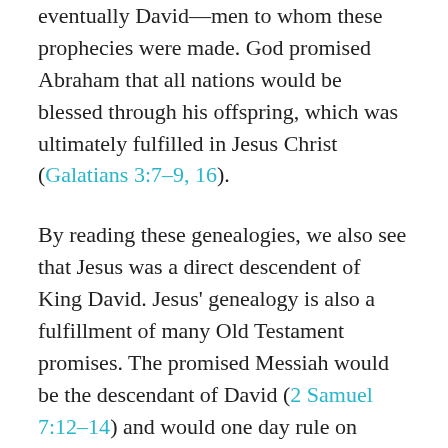eventually David—men to whom these prophecies were made. God promised Abraham that all nations would be blessed through his offspring, which was ultimately fulfilled in Jesus Christ (Galatians 3:7–9, 16).
By reading these genealogies, we also see that Jesus was a direct descendent of King David. Jesus' genealogy is also a fulfillment of many Old Testament promises. The promised Messiah would be the descendant of David (2 Samuel 7:12–14) and would one day rule on David's throne (Isaiah 9:6–7).